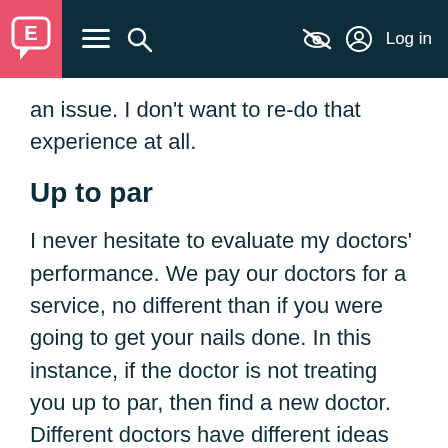E [logo] ≡ 🔍 [eye-slash icon] [user icon] Log in
an issue. I don't want to re-do that experience at all.
Up to par
I never hesitate to evaluate my doctors' performance. We pay our doctors for a service, no different than if you were going to get your nails done. In this instance, if the doctor is not treating you up to par, then find a new doctor. Different doctors have different ideas and different methods of treating their patients. It's important for you to find one that you are comfortable with how they treat you